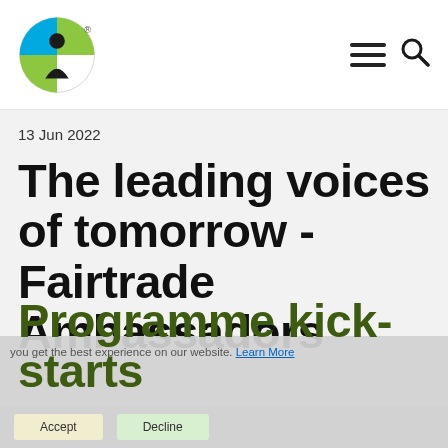Fairtrade logo and navigation header
13 Jun 2022
The leading voices of tomorrow - Fairtrade Ambassadors Programme kick-starts
you get the best experience on our website. Learn More